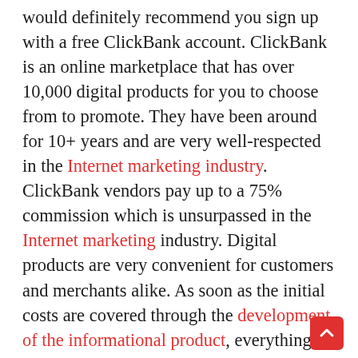would definitely recommend you sign up with a free ClickBank account. ClickBank is an online marketplace that has over 10,000 digital products for you to choose from to promote. They have been around for 10+ years and are very well-respected in the Internet marketing industry. ClickBank vendors pay up to a 75% commission which is unsurpassed in the Internet marketing industry. Digital products are very convenient for customers and merchants alike. As soon as the initial costs are covered through the development of the informational product, everything else is pure profit. So these merchants can pay you the affiliate an excellent commission! There is a lot of great ways to earn money online through ClickBank. Once you sign up for a free affiliate account through click-bank, I would recommend promoting only informational products with high gravity. A high gravity on ClickBank is telling you, the affiliate marketer, that this vendor's program is actually earning a lot of money online.